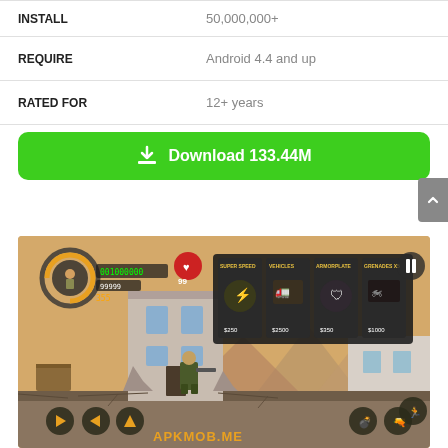| INSTALL | 50,000,000+ |
| REQUIRE | Android 4.4 and up |
| RATED FOR | 12+ years |
Download 133.44M
[Figure (screenshot): Game screenshot showing Metal Soldiers style side-scrolling action game with post-apocalyptic destroyed building, soldier character, in-game shop overlay showing Super Speed ($250), Vehicles ($2500), Armorplate ($350), Grenades x5 ($1000), with APKMOB.ME watermark and game UI controls.]